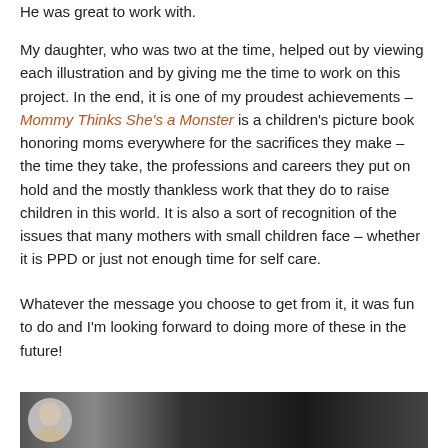He was great to work with.
My daughter, who was two at the time, helped out by viewing each illustration and by giving me the time to work on this project. In the end, it is one of my proudest achievements – Mommy Thinks She's a Monster is a children's picture book honoring moms everywhere for the sacrifices they make – the time they take, the professions and careers they put on hold and the mostly thankless work that they do to raise children in this world. It is also a sort of recognition of the issues that many mothers with small children face – whether it is PPD or just not enough time for self care.
Whatever the message you choose to get from it, it was fun to do and I'm looking forward to doing more of these in the future!
[Figure (photo): Dark banner image at the bottom of the page showing a circular avatar photo of a person and partial text/graphics.]